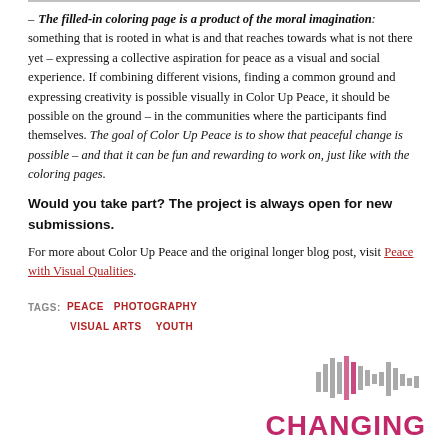– The filled-in coloring page is a product of the moral imagination: something that is rooted in what is and that reaches towards what is not there yet – expressing a collective aspiration for peace as a visual and social experience. If combining different visions, finding a common ground and expressing creativity is possible visually in Color Up Peace, it should be possible on the ground – in the communities where the participants find themselves. The goal of Color Up Peace is to show that peaceful change is possible – and that it can be fun and rewarding to work on, just like with the coloring pages.
Would you take part? The project is always open for new submissions.
For more about Color Up Peace and the original longer blog post, visit Peace with Visual Qualities.
TAGS:  PEACE  PHOTOGRAPHY  VISUAL ARTS  YOUTH
[Figure (logo): Changing logo with bar chart waveform icon in grey/pink and CHANGING text in magenta/pink bold uppercase]